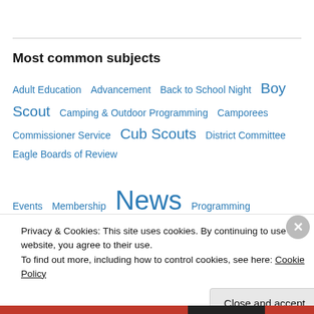Most common subjects
Adult Education  Advancement  Back to School Night  Boy Scout  Camping & Outdoor Programming  Camporees  Commissioner Service  Cub Scouts  District Committee  Eagle Boards of Review  Events  Membership  News  Programming  Rechartering  Recruitment  Roundtable  Training  Why scouting?  Youth Protection Training
Privacy & Cookies: This site uses cookies. By continuing to use this website, you agree to their use.
To find out more, including how to control cookies, see here: Cookie Policy
Close and accept